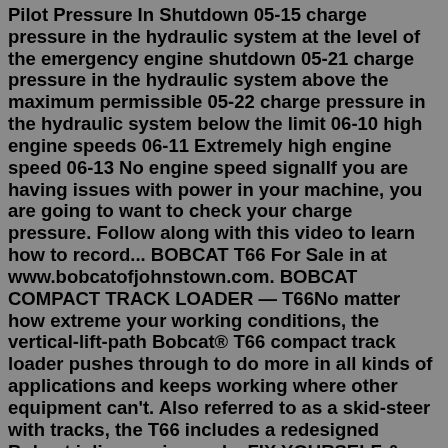Pilot Pressure In Shutdown 05-15 charge pressure in the hydraulic system at the level of the emergency engine shutdown 05-21 charge pressure in the hydraulic system above the maximum permissible 05-22 charge pressure in the hydraulic system below the limit 06-10 high engine speeds 06-11 Extremely high engine speed 06-13 No engine speed signalIf you are having issues with power in your machine, you are going to want to check your charge pressure. Follow along with this video to learn how to record... BOBCAT T66 For Sale in at www.bobcatofjohnstown.com. BOBCAT COMPACT TRACK LOADER — T66No matter how extreme your working conditions, the vertical-lift-path Bobcat® T66 compact track loader pushes through to do more in all kinds of applications and keeps working where other equipment can't. Also referred to as a skid-steer with tracks, the T66 includes a redesigned Bobcat inline engine and ...FIX YOURSELF & SAVE THAT MONEY !!2GUYS HOW2 unifi multicast enhancement on or off. Cancel